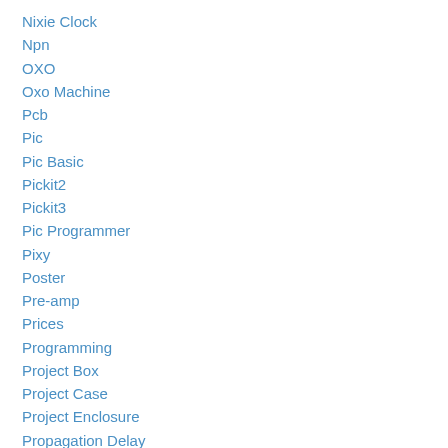Nixie Clock
Npn
OXO
Oxo Machine
Pcb
Pic
Pic Basic
Pickit2
Pickit3
Pic Programmer
Pixy
Poster
Pre-amp
Prices
Programming
Project Box
Project Case
Project Enclosure
Propagation Delay
Psu